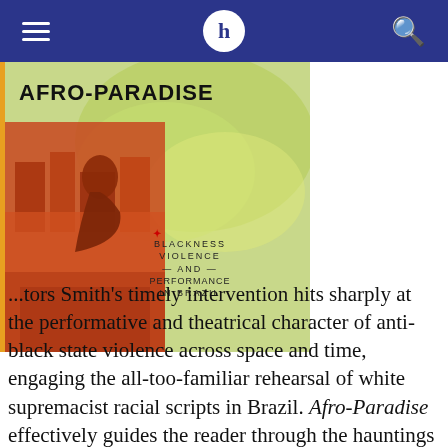Navigation bar with hamburger menu, H logo, and search icon
[Figure (photo): Book cover of 'Afro-Paradise: Blackness Violence and Performance in Brazil' with colorful mural artwork of city buildings and a figure in reddish-orange tones against a green and yellow painted map of Brazil]
...tors Smith's timely intervention hits sharply at the performative and theatrical character of anti-black state violence across space and time, engaging the all-too-familiar rehearsal of white supremacist racial scripts in Brazil. Afro-Paradise effectively guides the reader through the hauntings produced by